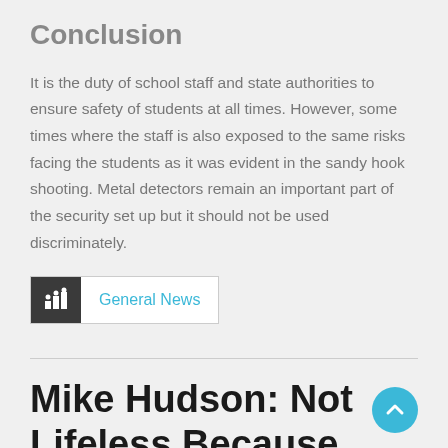Conclusion
It is the duty of school staff and state authorities to ensure safety of students at all times. However, some times where the staff is also exposed to the same risks facing the students as it was evident in the sandy hook shooting. Metal detectors remain an important part of the security set up but it should not be used discriminately.
General News
Mike Hudson: Not Lifeless Because He Was Not Knifed